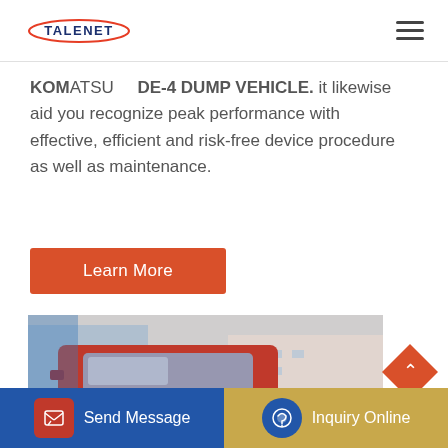TALENET
KOMATSU HM400-3 / HDE-4 DUMP VEHICLE. it likewise aid you recognize peak performance with effective, efficient and risk-free device procedure as well as maintenance.
[Figure (illustration): Orange 'Learn More' button with white text on orange/red background]
[Figure (photo): Red HOWO truck (dump vehicle) parked in a vehicle yard with buildings in background]
Send Message | Inquiry Online